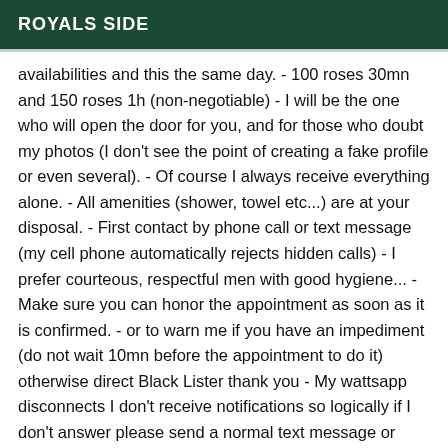ROYALS SIDE
availabilities and this the same day. - 100 roses 30mn and 150 roses 1h (non-negotiable) - I will be the one who will open the door for you, and for those who doubt my photos (I don't see the point of creating a fake profile or even several). - Of course I always receive everything alone. - All amenities (shower, towel etc...) are at your disposal. - First contact by phone call or text message (my cell phone automatically rejects hidden calls) - I prefer courteous, respectful men with good hygiene... - Make sure you can honor the appointment as soon as it is confirmed. - or to warn me if you have an impediment (do not wait 10mn before the appointment to do it) otherwise direct Black Lister thank you - My wattsapp disconnects I don't receive notifications so logically if I don't answer please send a normal text message or call... - Notice to some men who harass me by phone be logical if I don't answer these necessarily that I'm busy and probably next to someone. For